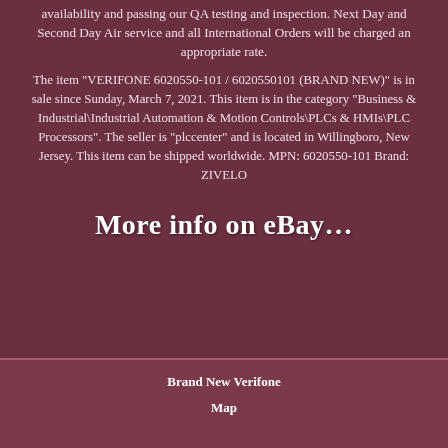availability and passing our QA testing and inspection. Next Day and Second Day Air service and all International Orders will be charged an appropriate rate.
The item "VERIFONE 6020550-101 / 6020550101 (BRAND NEW)" is in sale since Sunday, March 7, 2021. This item is in the category "Business & Industrial\Industrial Automation & Motion Controls\PLCs & HMIs\PLC Processors". The seller is "plccenter" and is located in Willingboro, New Jersey. This item can be shipped worldwide. MPN: 6020550-101 Brand: ZIVELO
More info on eBay...
Brand New Verifone
Map